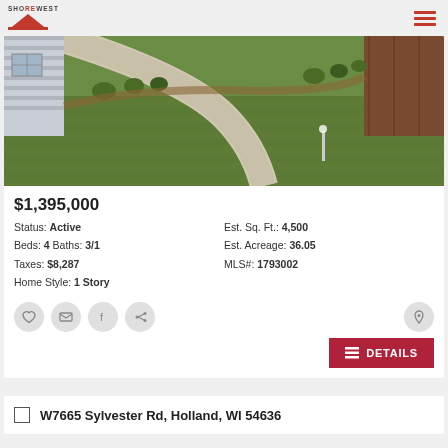Shorewest
[Figure (photo): Aerial view of a residential property showing a green lawn with mowing patterns, a curved driveway, the side of a house, and landscaping with shrubs and mulch beds.]
$1,395,000
Status: Active  Est. Sq. Ft.: 4,500
Beds: 4 Baths: 3/1  Est. Acreage: 36.05
Taxes: $8,287  MLS#: 1793002
Home Style: 1 Story
DETAILS
W7665 Sylvester Rd, Holland, WI 54636